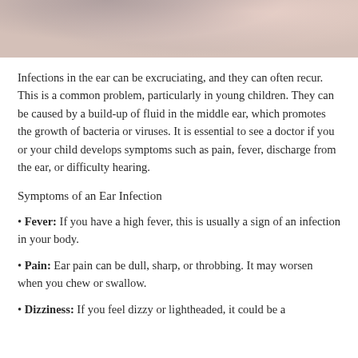[Figure (photo): Close-up photo of a person touching their ear, visible fingers and skin tones, cropped at top of page]
Infections in the ear can be excruciating, and they can often recur. This is a common problem, particularly in young children. They can be caused by a build-up of fluid in the middle ear, which promotes the growth of bacteria or viruses. It is essential to see a doctor if you or your child develops symptoms such as pain, fever, discharge from the ear, or difficulty hearing.
Symptoms of an Ear Infection
• Fever: If you have a high fever, this is usually a sign of an infection in your body.
• Pain: Ear pain can be dull, sharp, or throbbing. It may worsen when you chew or swallow.
• Dizziness: If you feel dizzy or lightheaded, it could be a